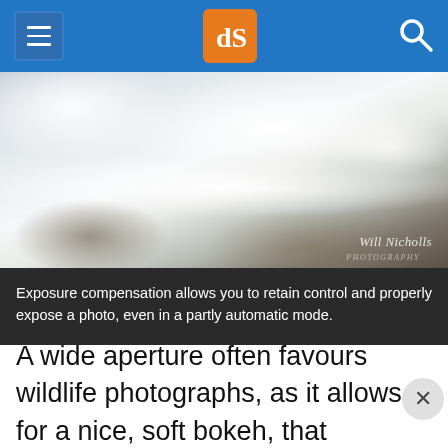dPS (Digital Photography School) navigation bar
[Figure (photo): Snow-covered rocks or terrain photographed with shallow depth of field, with watermark reading 'Will Nicholls' in the bottom right corner]
Exposure compensation allows you to retain control and properly expose a photo, even in a partly automatic mode.
A wide aperture often favours wildlife photographs, as it allows for a nice, soft bokeh, that isolates the subject from the background. This is what often gives a wildlife